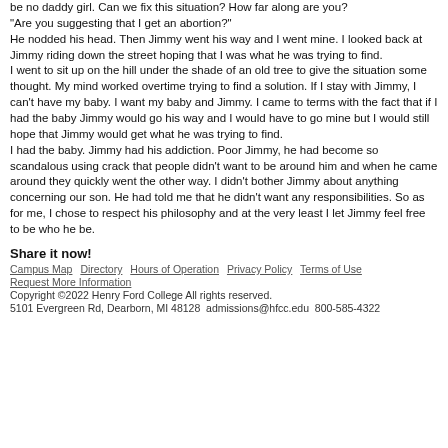be no daddy girl. Can we fix this situation? How far along are you? "Are you suggesting that I get an abortion?" He nodded his head. Then Jimmy went his way and I went mine. I looked back at Jimmy riding down the street hoping that I was what he was trying to find. I went to sit up on the hill under the shade of an old tree to give the situation some thought. My mind worked overtime trying to find a solution. If I stay with Jimmy, I can't have my baby. I want my baby and Jimmy. I came to terms with the fact that if I had the baby Jimmy would go his way and I would have to go mine but I would still hope that Jimmy would get what he was trying to find. I had the baby. Jimmy had his addiction. Poor Jimmy, he had become so scandalous using crack that people didn't want to be around him and when he came around they quickly went the other way. I didn't bother Jimmy about anything concerning our son. He had told me that he didn't want any responsibilities. So as for me, I chose to respect his philosophy and at the very least I let Jimmy feel free to be who he be.
Share it now!
Campus Map  Directory  Hours of Operation  Privacy Policy  Terms of Use  Request More Information  Copyright © 2022 Henry Ford College All rights reserved.  5101 Evergreen Rd, Dearborn, MI 48128  admissions@hfcc.edu  800-585-4322